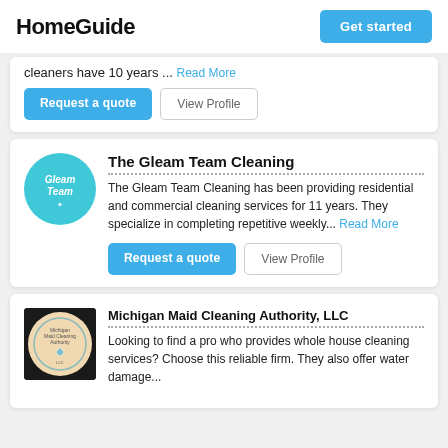HomeGuide | Get started
cleaners have 10 years ... Read More
Request a quote | View Profile
The Gleam Team Cleaning
The Gleam Team Cleaning has been providing residential and commercial cleaning services for 11 years. They specialize in completing repetitive weekly... Read More
Request a quote | View Profile
Michigan Maid Cleaning Authority, LLC
Looking to find a pro who provides whole house cleaning services? Choose this reliable firm. They also offer water damage...